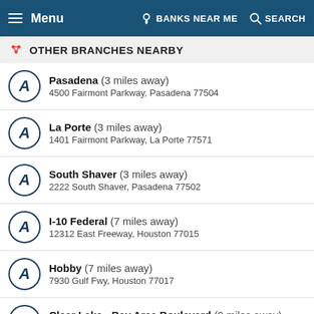Menu | BANKS NEAR ME | SEARCH
OTHER BRANCHES NEARBY
Pasadena (3 miles away) — 4500 Fairmont Parkway, Pasadena 77504
La Porte (3 miles away) — 1401 Fairmont Parkway, La Porte 77571
South Shaver (3 miles away) — 2222 South Shaver, Pasadena 77502
I-10 Federal (7 miles away) — 12312 East Freeway, Houston 77015
Hobby (7 miles away) — 7930 Gulf Fwy, Houston 77017
Clear Lake - Bay Area Boulevard (9 miles away) — 1060 Bay Area Blvd., Houston 77058
South Shore (12 miles away) — 2460 Marina Bay Drive, League City 77573